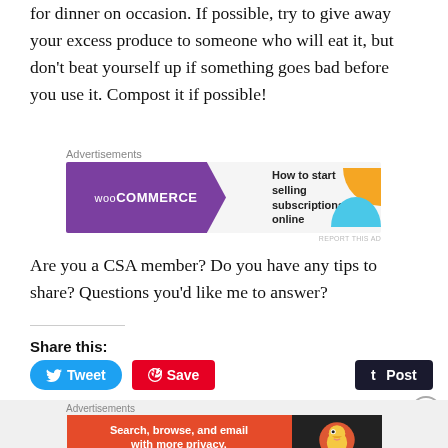for dinner on occasion. If possible, try to give away your excess produce to someone who will eat it, but don't beat yourself up if something goes bad before you use it. Compost it if possible!
[Figure (other): WooCommerce advertisement banner: 'How to start selling subscriptions online']
Are you a CSA member? Do you have any tips to share? Questions you'd like me to answer?
Share this:
[Figure (other): Social share buttons: Tweet (Twitter), Save (Pinterest), Post (Tumblr)]
[Figure (other): DuckDuckGo advertisement: 'Search, browse, and email with more privacy. All in One Free App']